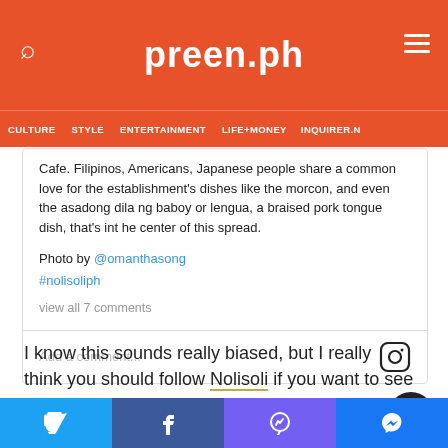preen.ph
CULTURE  STYLE  ENTERTAINMENT  LIFE+MONEY  INQUIRER.N
Cafe. Filipinos, Americans, Japanese people share a common love for the establishment's dishes like the morcon, and even the asadong dila ng baboy or lengua, a braised pork tongue dish, that's int he center of this spread.

Photo by @omanthasong
#nolisoliph
view all 7 comments
Add a comment...
I know this sounds really biased, but I really think you should follow Nolisoli if you want to see great food photos on your feed! Plus, what's cool about Nolisoli way of writing about restaurants is that aside from